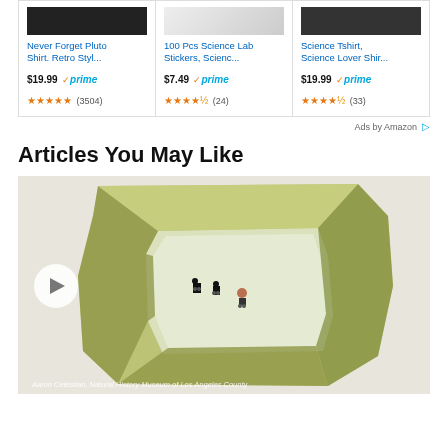[Figure (screenshot): Amazon ad row with 3 product cards: (1) Never Forget Pluto Shirt. Retro Styl... $19.99 Prime, 4.5 stars (3504); (2) 100 Pcs Science Lab Stickers, Scienc... $7.49 Prime, 4.5 stars (24); (3) Science Tshirt, Science Lover Shir... $19.99 Prime, 4.5 stars (33)]
Ads by Amazon ▷
Articles You May Like
[Figure (photo): Photo of a yellowish-green crystal/mineral specimen with a clear interior section, containing tiny robotic figures. Caption: Aaron Celestian, Natural History Museum of Los Angeles County]